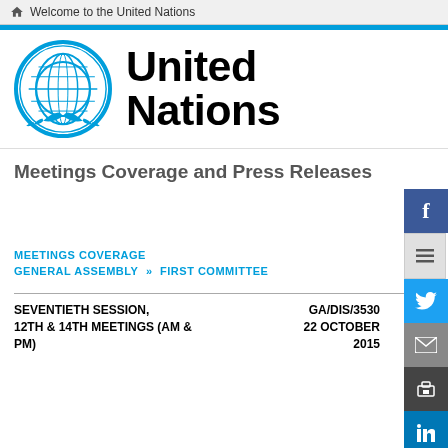Welcome to the United Nations
[Figure (logo): United Nations logo with globe and olive branches in blue, next to bold black text 'United Nations']
Meetings Coverage and Press Releases
MEETINGS COVERAGE
GENERAL ASSEMBLY >> FIRST COMMITTEE
SEVENTIETH SESSION, 12TH & 14TH MEETINGS (AM & PM)
GA/DIS/3530
22 OCTOBER 2015